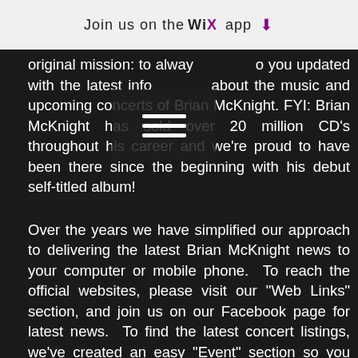Join us on the WiX app ↓
original mission: to always keep you updated with the latest info about the music and upcoming concerts of Brian McKnight. FYI: Brian McKnight has sold over 20 million CD's throughout his career and we're proud to have been there since the beginning with his debut self-titled album!
Over the years we have simplified our approach to delivering the latest Brian McKnight news to your computer or mobile phone.  To reach the official websites, please visit our "Web Links" section, and join us on our Facebook page for latest news.  To find the latest concert listings, we've created an easy "Event" section so you can simply click to see current upcoming concerts.
We're passionate about our mission, just like you're passionate about his music, and we thank you for all your many years of